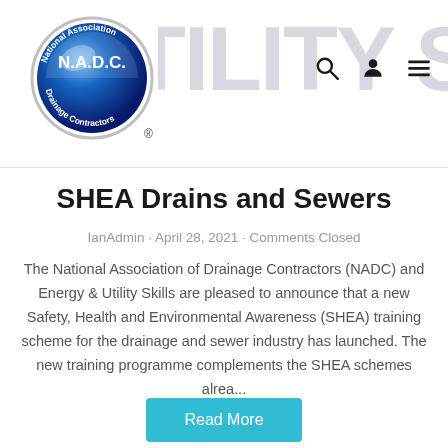UTILITY S [watermark]
[Figure (logo): N.A.D.C. National Association Drainage Contractors circular logo with blue globe design and registered trademark symbol]
SHEA Drains and Sewers
IanAdmin · April 28, 2021 · Comments Closed
The National Association of Drainage Contractors (NADC) and Energy & Utility Skills are pleased to announce that a new Safety, Health and Environmental Awareness (SHEA) training scheme for the drainage and sewer industry has launched. The new training programme complements the SHEA schemes alrea...
Read More